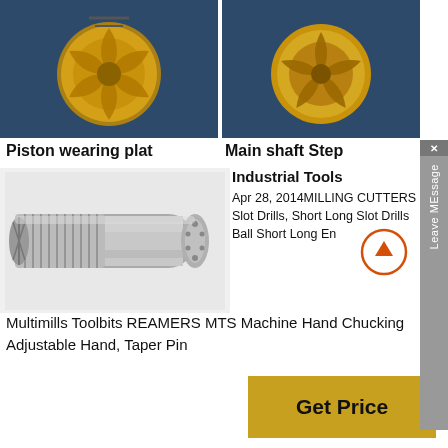[Figure (photo): Piston wearing plat - gold-colored drill bit component viewed from above, dark blue background]
[Figure (photo): Main shaft Step - gold-colored drill bit component viewed from above, dark blue background]
Piston wearing plat
Main shaft Step
[Figure (photo): Metal cylindrical shaft/spindle component, grey metallic, with threaded exterior and flanged end]
Industrial Tools
Apr 28, 2014MILLING CUTTERS Slot Drills, Short Long Slot Drills Ball Short Long Ends Multimills Toolbits REAMERS MTS Machine Hand Chucking Adjustable Hand, Taper Pin
Get Price